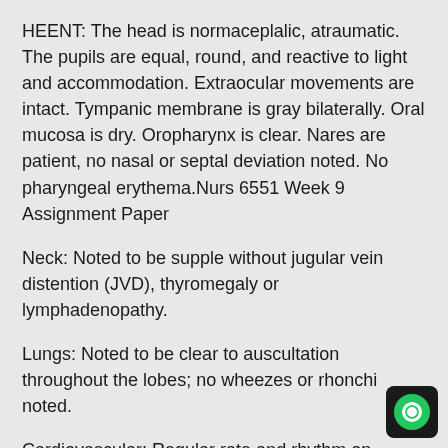HEENT: The head is normaceplalic, atraumatic. The pupils are equal, round, and reactive to light and accommodation. Extraocular movements are intact. Tympanic membrane is gray bilaterally. Oral mucosa is dry. Oropharynx is clear. Nares are patient, no nasal or septal deviation noted. No pharyngeal erythema.Nurs 6551 Week 9 Assignment Paper
Neck: Noted to be supple without jugular vein distention (JVD), thyromegaly or lymphadenopathy.
Lungs: Noted to be clear to auscultation throughout the lobes; no wheezes or rhonchi noted.
Cardiovascular: Regular rate and rhythm on auscultation, S1 S2 present without murmurs. Palpable pulses noted without peripheral edema.Nurs 6551 Week 9 Assignment Paper
Gastrointestinal: Bowel sounds are active in all quadrants.